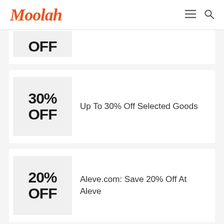Moolah
[Figure (other): Partial coupon badge showing OFF text clipped at top]
30% OFF — Up To 30% Off Selected Goods
20% OFF — Aleve.com: Save 20% Off At Aleve